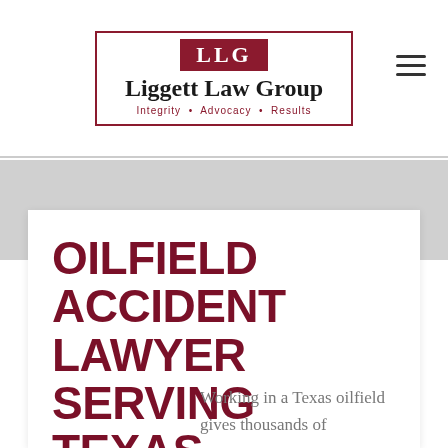LLG Liggett Law Group — Integrity • Advocacy • Results
OILFIELD ACCIDENT LAWYER SERVING TEXAS
Working in a Texas oilfield gives thousands of